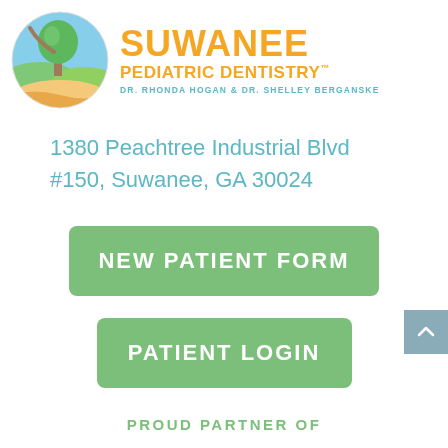[Figure (logo): Suwanee Pediatric Dentistry logo with circular nature illustration and orange/teal text]
1380 Peachtree Industrial Blvd #150, Suwanee, GA 30024
NEW PATIENT FORM
PATIENT LOGIN
PROUD PARTNER OF